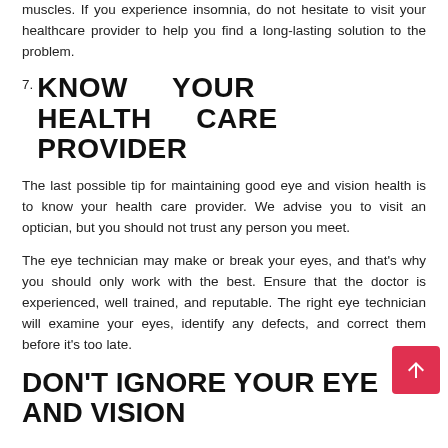muscles. If you experience insomnia, do not hesitate to visit your healthcare provider to help you find a long-lasting solution to the problem.
7. KNOW YOUR HEALTH CARE PROVIDER
The last possible tip for maintaining good eye and vision health is to know your health care provider. We advise you to visit an optician, but you should not trust any person you meet.
The eye technician may make or break your eyes, and that's why you should only work with the best. Ensure that the doctor is experienced, well trained, and reputable. The right eye technician will examine your eyes, identify any defects, and correct them before it's too late.
DON'T IGNORE YOUR EYE AND VISION HEALTH!